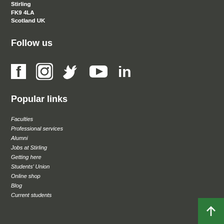Stirling
FK9 4LA
Scotland UK
Follow us
[Figure (other): Social media icons: Facebook, Instagram, Twitter, YouTube, LinkedIn]
Popular links
Faculties
Professional services
Alumni
Jobs at Stirling
Getting here
Students' Union
Online shop
Blog
Current students